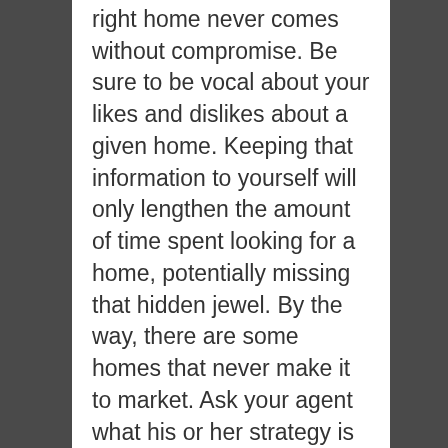right home never comes without compromise. Be sure to be vocal about your likes and dislikes about a given home. Keeping that information to yourself will only lengthen the amount of time spent looking for a home, potentially missing that hidden jewel. By the way, there are some homes that never make it to market. Ask your agent what his or her strategy is for getting you into those homes.
Step 4: Negotiate. This is one of the main reasons... if not THE MAIN reason your hire your agent of choice. Let's face it, anyone can find